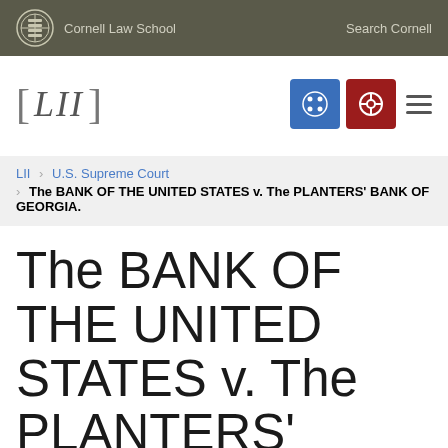Cornell Law School | Search Cornell
[Figure (logo): LII Legal Information Institute logo with navigation icons]
LII > U.S. Supreme Court > The BANK OF THE UNITED STATES v. The PLANTERS' BANK OF GEORGIA.
The BANK OF THE UNITED STATES v. The PLANTERS' BANK OF GEORGIA.